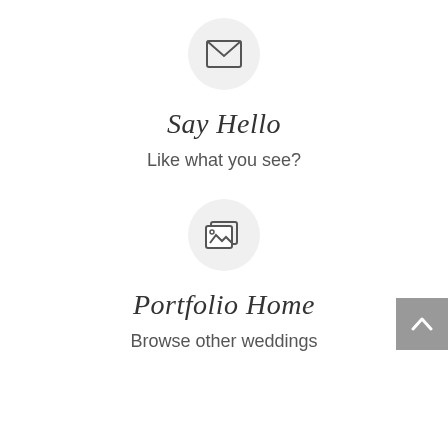[Figure (illustration): Envelope icon inside a light gray circle]
Say Hello
Like what you see?
[Figure (illustration): Photo/image gallery icon inside a light gray circle]
Portfolio Home
Browse other weddings
PLANNED TO PERFECTION, REMEMBERED ALWAYS.
FOLLOW ME ON